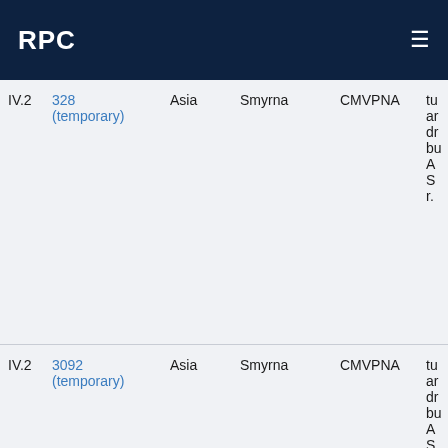RPC
| Vol | Ref | Region | City | Category | Desc |
| --- | --- | --- | --- | --- | --- |
| IV.2 | 328 (temporary) | Asia | Smyrna | CMVPNA | tu... |
| IV.2 | 3092 (temporary) | Asia | Smyrna | CMVPNA | tu... |
| IV.2 | 333 | Asia | Smyrna | CMVPNA | tu... |